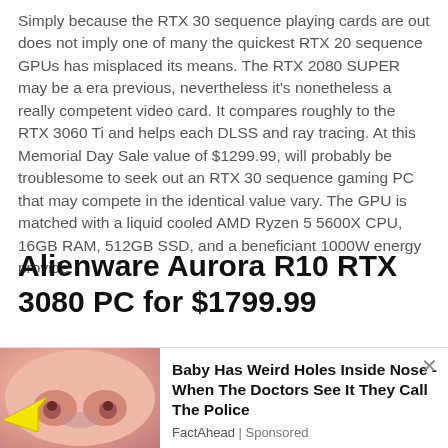Simply because the RTX 30 sequence playing cards are out does not imply one of many the quickest RTX 20 sequence GPUs has misplaced its means. The RTX 2080 SUPER may be a era previous, nevertheless it's nonetheless a really competent video card. It compares roughly to the RTX 3060 Ti and helps each DLSS and ray tracing. At this Memorial Day Sale value of $1299.99, will probably be troublesome to seek out an RTX 30 sequence gaming PC that may compete in the identical value vary. The GPU is matched with a liquid cooled AMD Ryzen 5 5600X CPU, 16GB RAM, 512GB SSD, and a beneficiant 1000W energy provide.
Alienware Aurora R10 RTX 3080 PC for $1799.99
Alienware Aurora R10 Liquid Cooled AMD Ryzen 7 5800 RTX 3080 PC with 16GB RAM, 1TB SSD
[Figure (photo): Close-up photo of a baby's nose with yellow arrow pointing, part of an advertisement]
Baby Has Weird Holes Inside Nose - When The Doctors See It They Call The Police
FactAhead | Sponsored